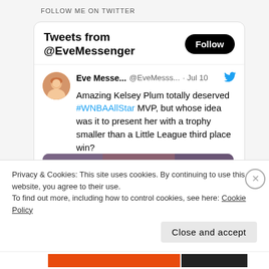FOLLOW ME ON TWITTER
Tweets from @EveMessenger
Eve Messe... @EveMesss... · Jul 10
Amazing Kelsey Plum totally deserved #WNBAAllStar MVP, but whose idea was it to present her with a trophy smaller than a Little League third place win?
[Figure (photo): Photo of two women at a basketball event, one in a black blazer and one in an orange jersey with number 42 visible on a player behind them]
Privacy & Cookies: This site uses cookies. By continuing to use this website, you agree to their use.
To find out more, including how to control cookies, see here: Cookie Policy
Close and accept